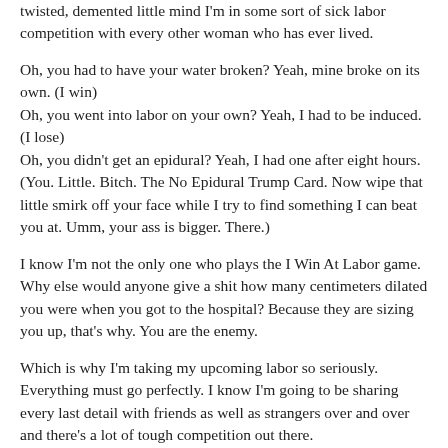twisted, demented little mind I'm in some sort of sick labor competition with every other woman who has ever lived.
Oh, you had to have your water broken? Yeah, mine broke on its own. (I win)
Oh, you went into labor on your own? Yeah, I had to be induced. (I lose)
Oh, you didn't get an epidural? Yeah, I had one after eight hours. (You. Little. Bitch. The No Epidural Trump Card. Now wipe that little smirk off your face while I try to find something I can beat you at. Umm, your ass is bigger. There.)
I know I'm not the only one who plays the I Win At Labor game. Why else would anyone give a shit how many centimeters dilated you were when you got to the hospital? Because they are sizing you up, that's why. You are the enemy.
Which is why I'm taking my upcoming labor so seriously. Everything must go perfectly. I know I'm going to be sharing every last detail with friends as well as strangers over and over and there's a lot of tough competition out there.